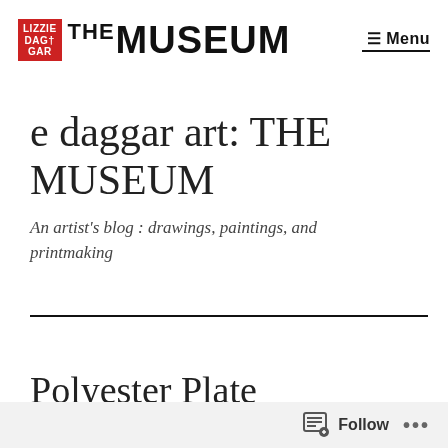lizzie daggar THE MUSEUM | Menu
e daggar art: THE MUSEUM
An artist's blog : drawings, paintings, and printmaking
Polyester Plate lithography
Follow ...